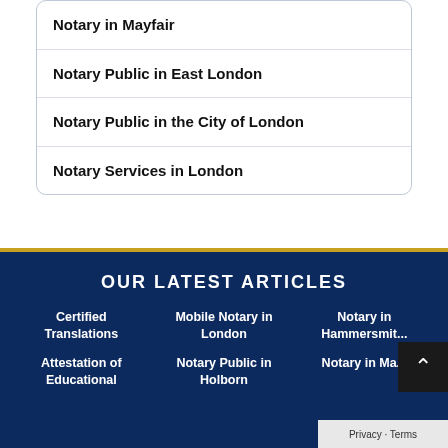Notary in Mayfair
Notary Public in East London
Notary Public in the City of London
Notary Services in London
OUR LATEST ARTICLES
Certified Translations
Mobile Notary in London
Notary in Hammersmith
Attestation of Educational
Notary Public in Holborn
Notary in Ma...